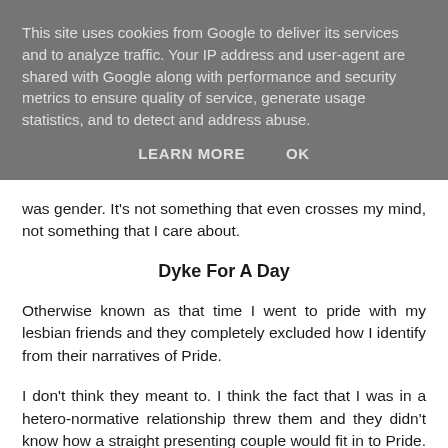This site uses cookies from Google to deliver its services and to analyze traffic. Your IP address and user-agent are shared with Google along with performance and security metrics to ensure quality of service, generate usage statistics, and to detect and address abuse.
LEARN MORE   OK
was gender. It's not something that even crosses my mind, not something that I care about.
Dyke For A Day
Otherwise known as that time I went to pride with my lesbian friends and they completely excluded how I identify from their narratives of Pride.
I don't think they meant to. I think the fact that I was in a hetero-normative relationship threw them and they didn't know how a straight presenting couple would fit in to Pride. And to be honest, it didn't. I myself was still exploring my sexuality and how to identify it. I had only recently